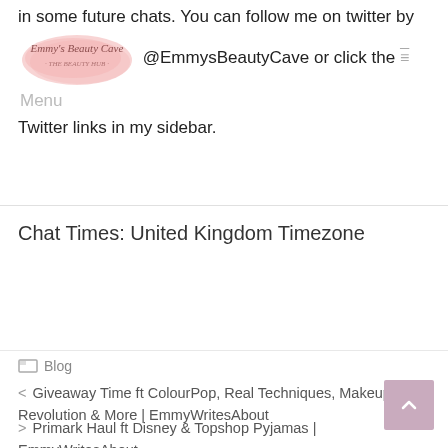in some future chats. You can follow me on twitter by @EmmysBeautyCave or click the Twitter links in my sidebar.
[Figure (logo): Emmy's Beauty Cave logo — pink watercolor blob with cursive script text]
Chat Times: United Kingdom Timezone
Blog
< Giveaway Time ft ColourPop, Real Techniques, Makeup Revolution & More | EmmyWritesAbout
> Primark Haul ft Disney & Topshop Pyjamas | EmmyWritesAbout